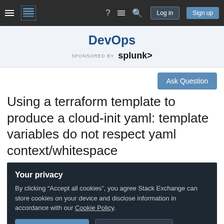DevOps – Stack Exchange (navigation bar with Log in and Sign up buttons)
DevOps
SPONSORED BY splunk>
Ask Question
Using a terraform template to produce a cloud-init yaml: template variables do not respect yaml context/whitespace
Your privacy
By clicking "Accept all cookies", you agree Stack Exchange can store cookies on your device and disclose information in accordance with our Cookie Policy.
Accept all cookies    Customize settings
retrieved externally) and to apply them to a Jinja2